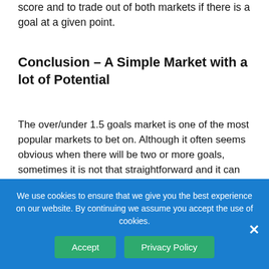score and to trade out of both markets if there is a goal at a given point.
Conclusion – A Simple Market with a lot of Potential
The over/under 1.5 goals market is one of the most popular markets to bet on. Although it often seems obvious when there will be two or more goals, sometimes it is not that straightforward and it can pay off to look for details such as team news and for games where there are particularly strong defences or attacks, for example.
We use cookies to ensure that we give you the best experience on our website. By continuing we assume you accept the use of cookies.